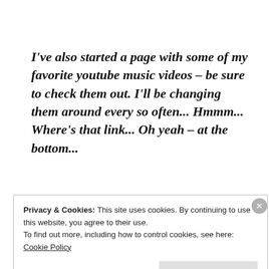I've also started a page with some of my favorite youtube music videos – be sure to check them out. I'll be changing them around every so often... Hmmm... Where's that link... Oh yeah – at the bottom...
Also some Fun videos – Short stories, old movie trailers, etc. Film at 11. I mean, link at the
Privacy & Cookies: This site uses cookies. By continuing to use this website, you agree to their use.
To find out more, including how to control cookies, see here:
Cookie Policy